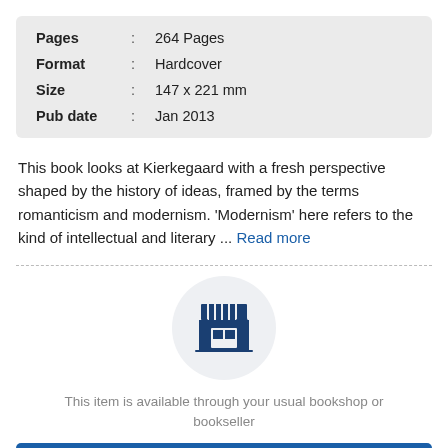| Pages | : | 264 Pages |
| Format | : | Hardcover |
| Size | : | 147 x 221 mm |
| Pub date | : | Jan 2013 |
This book looks at Kierkegaard with a fresh perspective shaped by the history of ideas, framed by the terms romanticism and modernism. 'Modernism' here refers to the kind of intellectual and literary ... Read more
[Figure (illustration): Store/bookshop icon inside a light grey circle — a stylized shop front with striped awning and window, rendered in dark navy blue.]
This item is available through your usual bookshop or bookseller